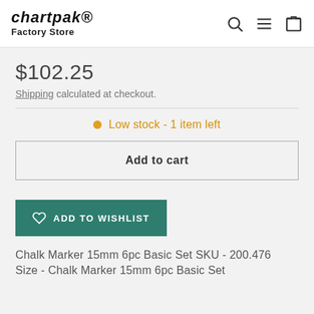Chartpak Factory Store
$102.25
Shipping calculated at checkout.
Low stock - 1 item left
Add to cart
ADD TO WISHLIST
Chalk Marker 15mm 6pc Basic Set SKU - 200.476 Size - Chalk Marker 15mm 6pc Basic Set